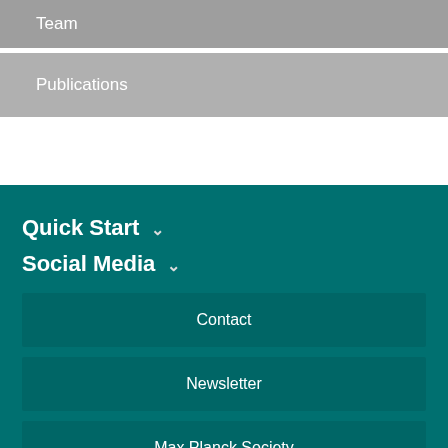Team
Publications
Quick Start
Social Media
Contact
Newsletter
Max Planck Society
Intranet